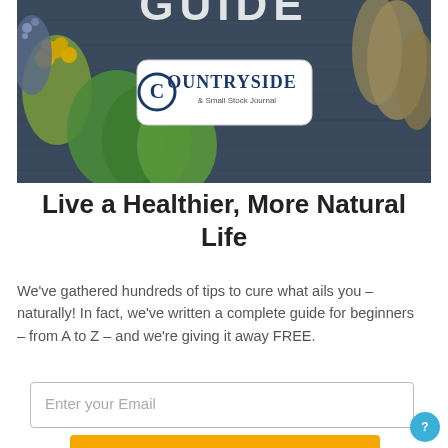[Figure (photo): Book or magazine guide cover image showing various herbs and botanical plants arranged on a dark wooden background, with a 'Countryside & Small Stock Journal' logo badge overlaid in the center. Partial large title text 'GUIDE' visible at the top.]
Live a Healthier, More Natural Life
We've gathered hundreds of tips to cure what ails you – naturally! In fact, we've written a complete guide for beginners – from A to Z – and we're giving it away FREE.
Enter your Email